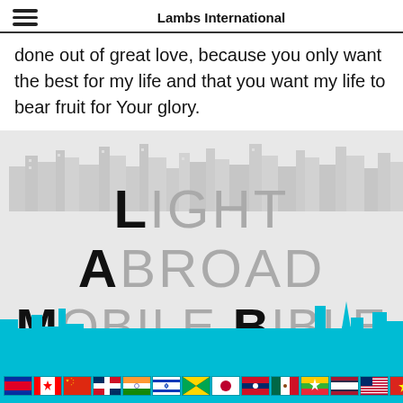Lambs International
done out of great love, because you only want the best for my life and that you want my life to bear fruit for Your glory.
[Figure (illustration): City skyline silhouette in gray, with large text overlay reading 'LIGHT ABROAD MOBILE BIBLE SCHOOLS' (acronym LAMBS) on a light gray background, with a teal city skyline and row of international flags at the bottom.]